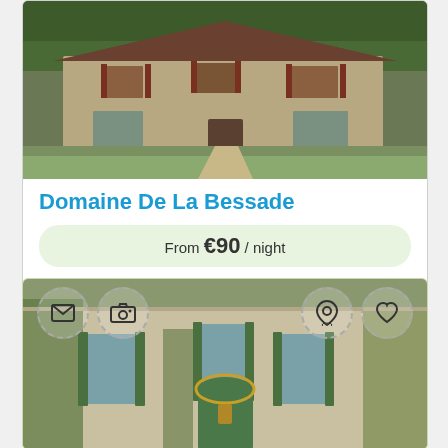[Figure (photo): Stone farmhouse with brown shutters, green lawn, trees in background — top card property photo]
Domaine De La Bessade
From €90 / night
Book Now
Contact
[Figure (photo): Provençal stone house with green shutters and climbing plants, with dashed-circle overlay icons for email, camera, location pin, and heart]